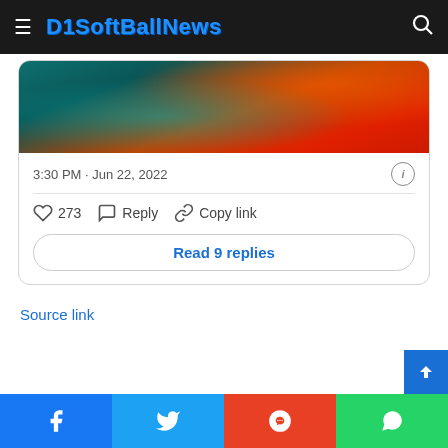D1SoftBallNews
[Figure (photo): Partial view of a softball/sports image with teal water-like background and orange/red elements]
3:30 PM · Jun 22, 2022
273 Reply Copy link
Read 9 replies
Source link
Facebook Twitter Reddit WhatsApp